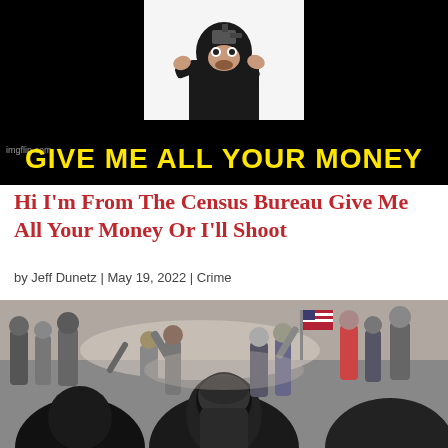[Figure (photo): Meme image with black background. Top half shows a white panel with an illustration of a masked person in black holding a gun pointed toward the viewer. Bottom half has bold yellow Impact text: GIVE ME ALL YOUR MONEY. Small watermark 'imgflip.com' in bottom left.]
Hi I'm From The Census Bureau Give Me All Your Money Or I'll Shoot
by Jeff Dunetz | May 19, 2022 | Crime
[Figure (photo): Photograph of a large crowd of people at what appears to be a protest or street confrontation. People are dressed in dark clothing, some wearing helmets. American flags visible in background. Scene appears chaotic.]